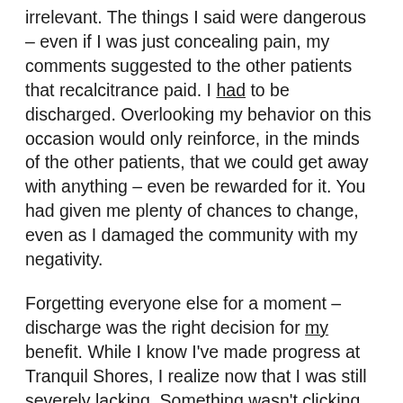irrelevant. The things I said were dangerous – even if I was just concealing pain, my comments suggested to the other patients that recalcitrance paid. I had to be discharged. Overlooking my behavior on this occasion would only reinforce, in the minds of the other patients, that we could get away with anything – even be rewarded for it. You had given me plenty of chances to change, even as I damaged the community with my negativity.
Forgetting everyone else for a moment – discharge was the right decision for my benefit. While I know I've made progress at Tranquil Shores, I realize now that I was still severely lacking. Something wasn't clicking.
I believe wholeheartedly that that something has clicked now. I needed the discharge as a wake up call. I see my part now. The only way I could learn was the hard way. What matters though is that I learned. I get it. And I'm more determined than ever to really work. Though I know that I can do this work anywhere, I believe that nowhere can I be more successful